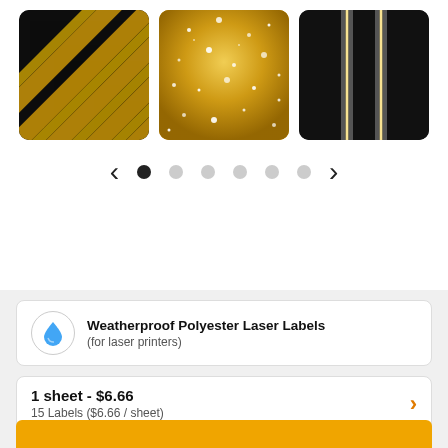[Figure (screenshot): Product image carousel showing three label designs: diagonal gold/black stripes, gold glitter, and black with gold vertical stripe. Navigation arrows and dots below.]
Weatherproof Polyester Laser Labels (for laser printers)
1 sheet - $6.66
15 Labels ($6.66 / sheet)